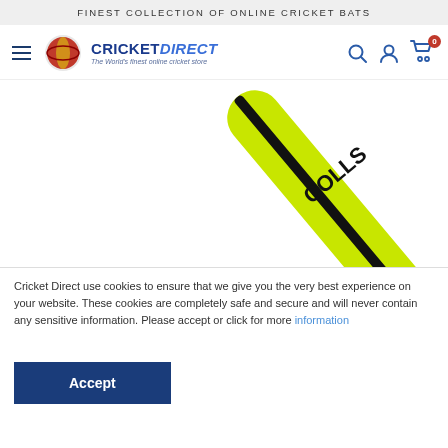FINEST COLLECTION OF ONLINE CRICKET BATS
[Figure (logo): Cricket Direct logo with red/gold cricket ball icon and text 'CRICKETDIRECT The World's finest online cricket store']
[Figure (photo): Lime green cricket bat handle/grip angled diagonally from bottom-left to top-right, with 'COLLS' text visible on the bat]
Cricket Direct use cookies to ensure that we give you the very best experience on your website. These cookies are completely safe and secure and will never contain any sensitive information. Please accept or click for more information
Accept